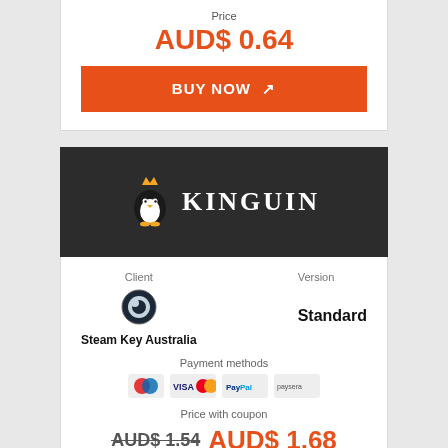Price
AUD$ 0.64
BUY NOW ↗
[Figure (logo): Kinguin logo with penguin mascot wearing a crown on dark background]
Client
Version
[Figure (logo): Steam circular logo icon]
Steam Key Australia
Standard
Payment methods
[Figure (logo): Payment method icons: Maestro, Visa/Mastercard, PayPal, Paysera]
Price with coupon
AUD$ 1.54 AUD$ 1.68
-5% KFG5